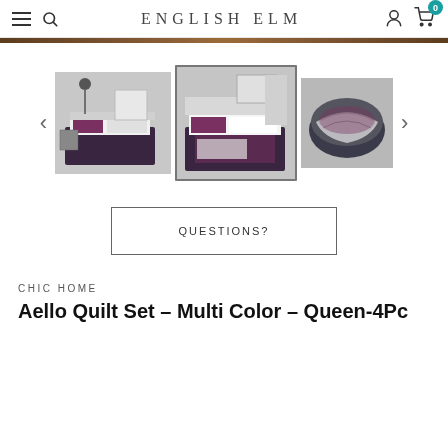ENGLISH ELM — navigation bar with hamburger, search, user icon, cart (0)
[Figure (photo): Brown horizontal banner bar]
[Figure (photo): Product image carousel showing three views of Aello Quilt Set: left image shows quilt on bed from side angle, center image shows quilt on bed front angle (active/highlighted), right image shows folded quilt closeup]
QUESTIONS?
CHIC HOME
Aello Quilt Set - Multi Color - Queen-4Pc